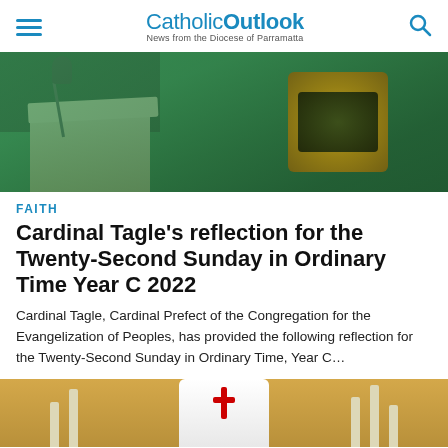CatholicOutlook — News from the Diocese of Parramatta
[Figure (photo): Priest in green vestments standing at a lectern/pulpit with a microphone, close-up showing embroidered vestment detail]
FAITH
Cardinal Tagle's reflection for the Twenty-Second Sunday in Ordinary Time Year C 2022
Cardinal Tagle, Cardinal Prefect of the Congregation for the Evangelization of Peoples, has provided the following reflection for the Twenty-Second Sunday in Ordinary Time, Year C…
[Figure (photo): Bishop or Cardinal in white and red vestments standing at an altar with candles, partial view cropped at bottom of page]